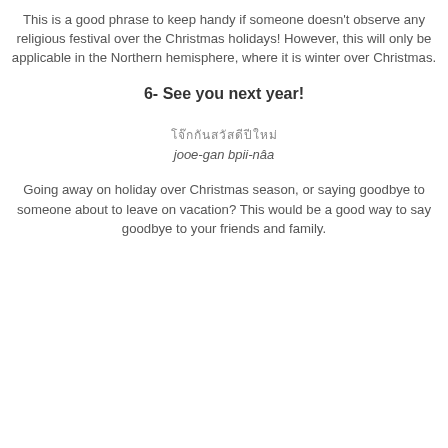This is a good phrase to keep handy if someone doesn't observe any religious festival over the Christmas holidays! However, this will only be applicable in the Northern hemisphere, where it is winter over Christmas.
6- See you next year!
โจ๊กกันสวัสดีปีใหม่
jooe-gan bpii-nâa
Going away on holiday over Christmas season, or saying goodbye to someone about to leave on vacation? This would be a good way to say goodbye to your friends and family.